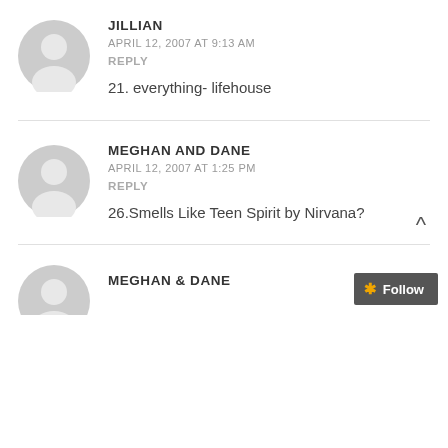[Figure (illustration): Gray default user avatar icon (circle head, rounded shoulders silhouette)]
JILLIAN
APRIL 12, 2007 AT 9:13 AM
REPLY
21. everything- lifehouse
[Figure (illustration): Gray default user avatar icon (circle head, rounded shoulders silhouette)]
MEGHAN AND DANE
APRIL 12, 2007 AT 1:25 PM
REPLY
26.Smells Like Teen Spirit by Nirvana?
[Figure (illustration): Gray default user avatar icon (partial, bottom of page)]
MEGHAN & DANE